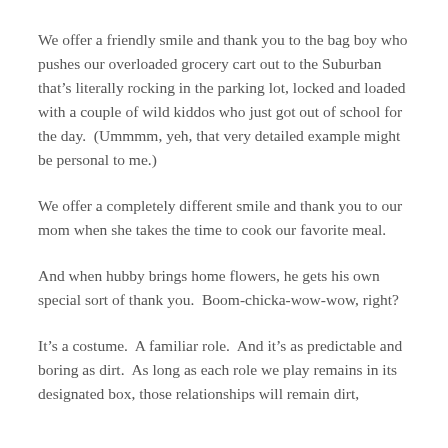We offer a friendly smile and thank you to the bag boy who pushes our overloaded grocery cart out to the Suburban that's literally rocking in the parking lot, locked and loaded with a couple of wild kiddos who just got out of school for the day.  (Ummmm, yeh, that very detailed example might be personal to me.)
We offer a completely different smile and thank you to our mom when she takes the time to cook our favorite meal.
And when hubby brings home flowers, he gets his own special sort of thank you.  Boom-chicka-wow-wow, right?
It's a costume.  A familiar role.  And it's as predictable and boring as dirt.  As long as each role we play remains in its designated box, those relationships will remain dirt,